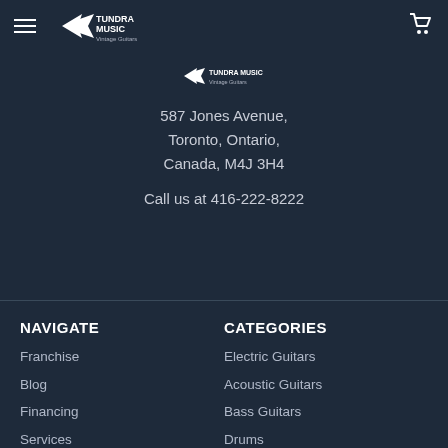[Figure (logo): Tundra Music logo with bird graphic and text 'Tundra Music' and tagline 'Vintage Guitars']
[Figure (logo): Small Tundra Music logo with tagline 'Vintage Guitars']
587 Jones Avenue, Toronto, Ontario, Canada, M4J 3H4
Call us at 416-222-8222
NAVIGATE
CATEGORIES
Franchise
Electric Guitars
Blog
Acoustic Guitars
Financing
Bass Guitars
Services
Drums
Events
Amplifiers